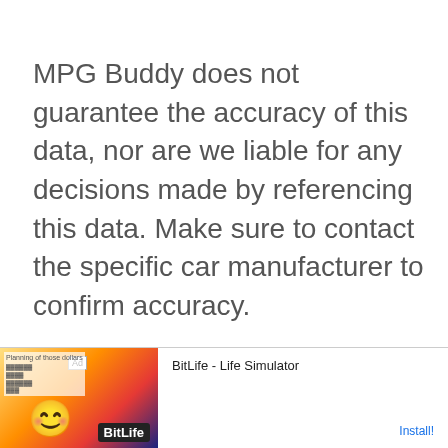MPG Buddy does not guarantee the accuracy of this data, nor are we liable for any decisions made by referencing this data. Make sure to contact the specific car manufacturer to confirm accuracy.
[Figure (other): Advertisement banner for BitLife - Life Simulator app, showing an Ad label, a colorful game screenshot with smiley face and BitLife logo on the left, and the app name 'BitLife - Life Simulator' with an 'Install!' button on the right.]